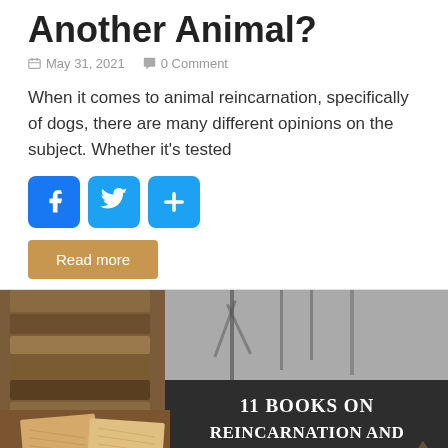Another Animal?
May 31, 2021   0 Comment
When it comes to animal reincarnation, specifically of dogs, there are many different opinions on the subject. Whether it's tested
[Figure (other): Social sharing buttons: Facebook, Twitter, Share]
Read more
[Figure (photo): Book collage image with text overlay reading '11 Books on Reincarnation and Past Lives']